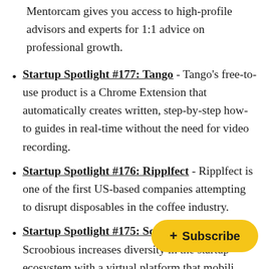Mentorcam gives you access to high-profile advisors and experts for 1:1 advice on professional growth.
Startup Spotlight #177: Tango - Tango's free-to-use product is a Chrome Extension that automatically creates written, step-by-step how-to guides in real-time without the need for video recording.
Startup Spotlight #176: Ripplfect - Ripplfect is one of the first US-based companies attempting to disrupt disposables in the coffee industry.
Startup Spotlight #175: Scroobious - Scroobious increases diversity in the startup ecosystem with a virtual platform that mobili... more investable and helps in... them through hyper-curation.